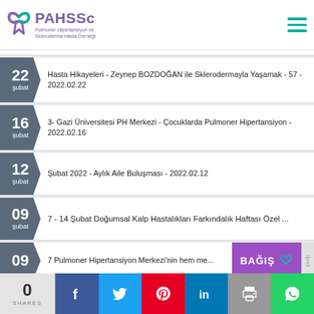PAHSSc - Pulmoner Hipertansiyon ve Skleroderma Hasta Derneği
22 şubat - Hasta Hikayeleri - Zeynep BOZDOĞAN ile Sklerodermayla Yaşamak - 57 - 2022.02.22
16 şubat - 3- Gazi Üniversitesi PH Merkezi - Çocuklarda Pulmoner Hipertansiyon - 2022.02.16
12 şubat - Şubat 2022 - Aylık Aile Buluşması - 2022.02.12
09 şubat - 7 - 14 Şubat Doğumsal Kalp Hastalıkları Farkındalık Haftası Özel ...
09 şubat - 7 Pulmoner Hipertansiyon Merkezi'nin hem me...
0 SHARES | Facebook | Twitter | Pinterest | LinkedIn | Print | WhatsApp